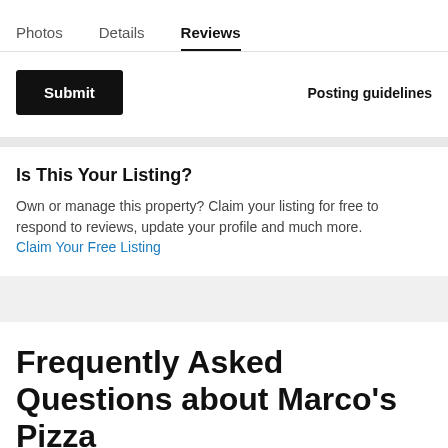Photos   Details   Reviews
Submit
Posting guidelines
Is This Your Listing?
Own or manage this property? Claim your listing for free to respond to reviews, update your profile and much more. Claim Your Free Listing
Frequently Asked Questions about Marco's Pizza